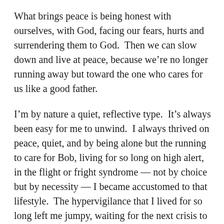What brings peace is being honest with ourselves, with God, facing our fears, hurts and surrendering them to God.  Then we can slow down and live at peace, because we’re no longer running away but toward the one who cares for us like a good father.
I’m by nature a quiet, reflective type.  It’s always been easy for me to unwind.  I always thrived on peace, quiet, and by being alone but the running to care for Bob, living for so long on high alert, in the flight or fright syndrome — not by choice but by necessity — I became accustomed to that lifestyle.  The hypervigilance that I lived for so long left me jumpy, waiting for the next crisis to respond to when I didn’t have to do that anymore.  It served me well for many months but began to hurt me when I couldn’t let it go after the necessity to live that...